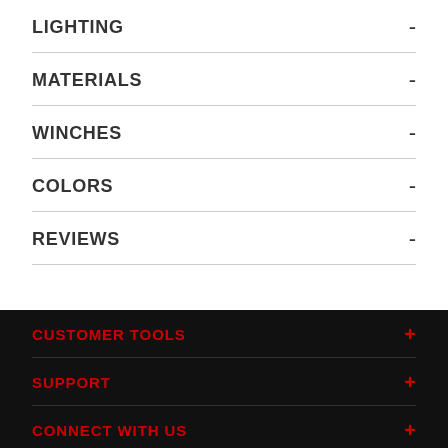LIGHTING -
MATERIALS -
WINCHES -
COLORS -
REVIEWS -
CUSTOMER TOOLS +
SUPPORT +
CONNECT WITH US +